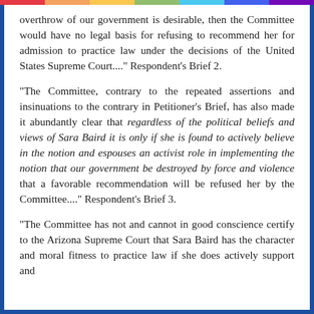overthrow of our government is desirable, then the Committee would have no legal basis for refusing to recommend her for admission to practice law under the decisions of the United States Supreme Court...." Respondent's Brief 2.
"The Committee, contrary to the repeated assertions and insinuations to the contrary in Petitioner's Brief, has also made it abundantly clear that regardless of the political beliefs and views of Sara Baird it is only if she is found to actively believe in the notion and espouses an activist role in implementing the notion that our government be destroyed by force and violence that a favorable recommendation will be refused her by the Committee...." Respondent's Brief 3.
"The Committee has not and cannot in good conscience certify to the Arizona Supreme Court that Sara Baird has the character and moral fitness to practice law if she does actively support and